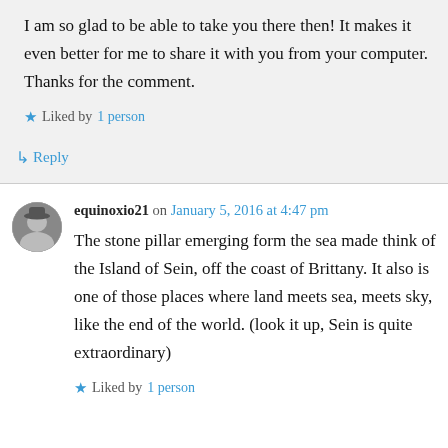I am so glad to be able to take you there then! It makes it even better for me to share it with you from your computer. Thanks for the comment.
★ Liked by 1 person
↳ Reply
equinoxio21 on January 5, 2016 at 4:47 pm
The stone pillar emerging form the sea made think of the Island of Sein, off the coast of Brittany. It also is one of those places where land meets sea, meets sky, like the end of the world. (look it up, Sein is quite extraordinary)
★ Liked by 1 person